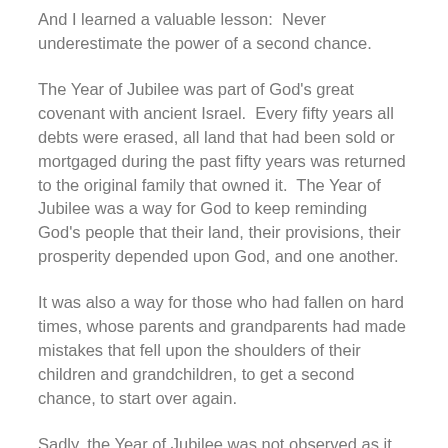And I learned a valuable lesson:  Never underestimate the power of a second chance.
The Year of Jubilee was part of God's great covenant with ancient Israel.  Every fifty years all debts were erased, all land that had been sold or mortgaged during the past fifty years was returned to the original family that owned it.  The Year of Jubilee was a way for God to keep reminding God's people that their land, their provisions, their prosperity depended upon God, and one another.
It was also a way for those who had fallen on hard times, whose parents and grandparents had made mistakes that fell upon the shoulders of their children and grandchildren, to get a second chance, to start over again.
Sadly, the Year of Jubilee was not observed as it should have been, even in the ancient world, and now is largely a ceremonial celebration.  The closest thing we have is our